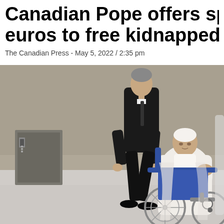Canadian Pope offers sp euros to free kidnapped
The Canadian Press - May 5, 2022 / 2:35 pm
[Figure (photo): A man in a black suit pushing Pope Francis in a blue and silver wheelchair across a marble floor inside a large hall with stone walls.]